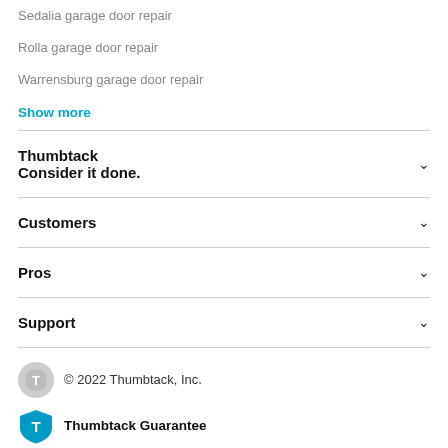Sedalia garage door repair
Rolla garage door repair
Warrensburg garage door repair
Show more
Thumbtack
Consider it done.
Customers
Pros
Support
© 2022 Thumbtack, Inc.
Thumbtack Guarantee